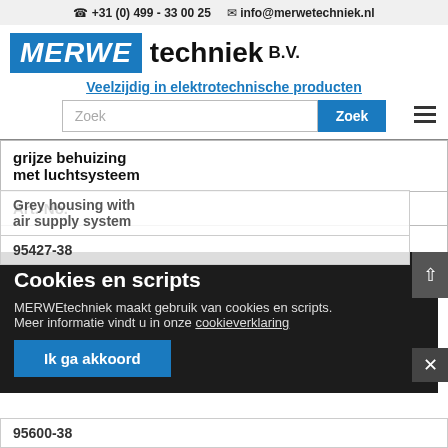+31 (0) 499 - 33 00 25   info@merwetechniek.nl
MERWE techniek B.V.
Veelzijdig in elektrotechnische producten
| grijze behuizing met luchtsysteem |
| Art.-No. |
| Grey housing with air supply system |
| 95427-38 |
| 95600-38 |
Cookies en scripts
MERWEtechniek maakt gebruik van cookies en scripts.
Meer informatie vindt u in onze cookieverklaring
Ik ga akkoord